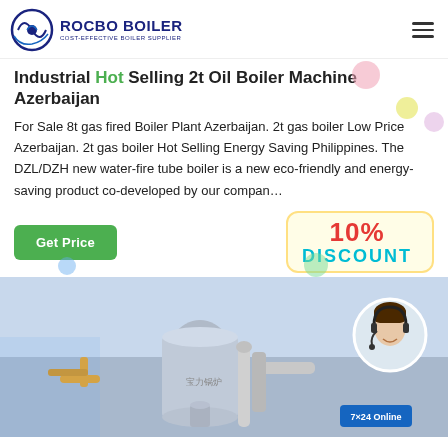ROCBO BOILER — COST-EFFECTIVE BOILER SUPPLIER
Industrial Hot Selling 2t Oil Boiler Machine Azerbaijan
For Sale 8t gas fired Boiler Plant Azerbaijan. 2t gas boiler Low Price Azerbaijan. 2t gas boiler Hot Selling Energy Saving Philippines. The DZL/DZH new water-fire tube boiler is a new eco-friendly and energy-saving product co-developed by our compan…
[Figure (illustration): Get Price green button and 10% DISCOUNT badge with decorative bubbles]
[Figure (photo): Industrial boiler room with pipes and equipment; customer service representative with headset in circular overlay; 7×24 Online text visible]